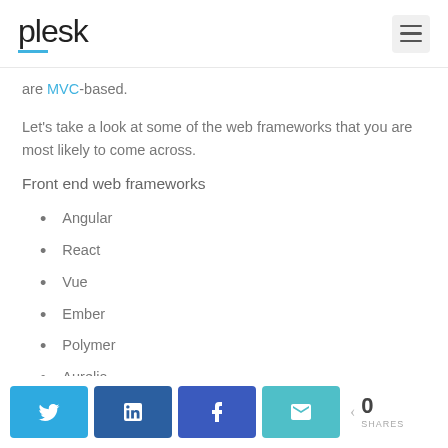plesk
are MVC-based.
Let’s take a look at some of the web frameworks that you are most likely to come across.
Front end web frameworks
Angular
React
Vue
Ember
Polymer
Aurelia
Angular
0 SHARES